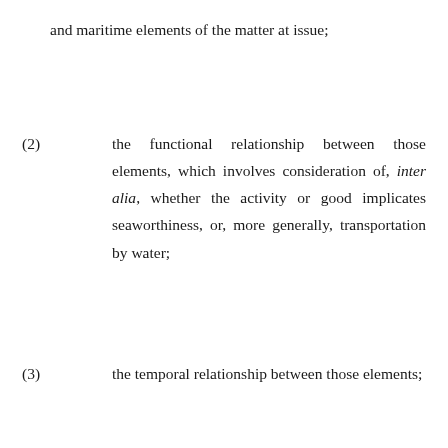and maritime elements of the matter at issue;
(2)    the functional relationship between those elements, which involves consideration of, inter alia, whether the activity or good implicates seaworthiness, or, more generally, transportation by water;
(3)    the temporal relationship between those elements;